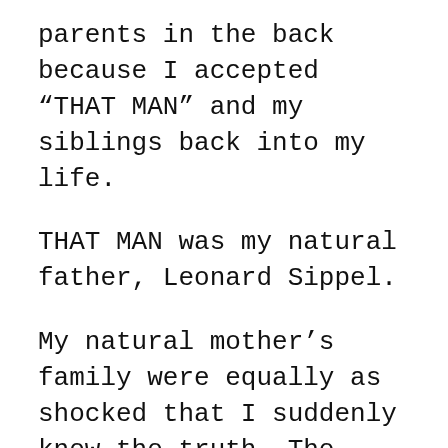parents in the back  because I accepted “THAT MAN” and my siblings back into my life.
THAT MAN was my natural father, Leonard Sippel.
My natural mother’s family were equally as shocked that I suddenly knew the truth. The Herrs hated my father and believed he killed my mother by not allowing